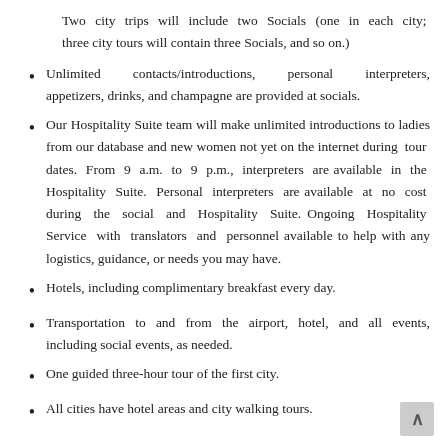Two city trips will include two Socials (one in each city; three city tours will contain three Socials, and so on.)
Unlimited contacts/introductions, personal interpreters, appetizers, drinks, and champagne are provided at socials.
Our Hospitality Suite team will make unlimited introductions to ladies from our database and new women not yet on the internet during tour dates. From 9 a.m. to 9 p.m., interpreters are available in the Hospitality Suite. Personal interpreters are available at no cost during the social and Hospitality Suite. Ongoing Hospitality Service with translators and personnel available to help with any logistics, guidance, or needs you may have.
Hotels, including complimentary breakfast every day.
Transportation to and from the airport, hotel, and all events, including social events, as needed.
One guided three-hour tour of the first city.
All cities have hotel areas and city walking tours.